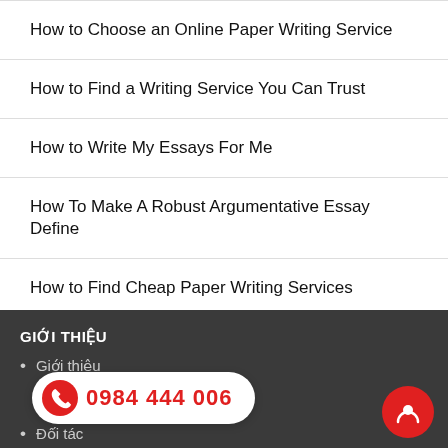How to Choose an Online Paper Writing Service
How to Find a Writing Service You Can Trust
How to Write My Essays For Me
How To Make A Robust Argumentative Essay Define
How to Find Cheap Paper Writing Services
GIỚI THIỆU
Giới thiệu
Đối tác
0984 444 006